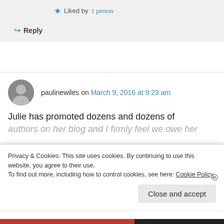Liked by 1 person
Reply
paulinewiles on March 9, 2016 at 9:23 am
Julie has promoted dozens and dozens of authors on her blog and I firmly feel we owe her
Privacy & Cookies: This site uses cookies. By continuing to use this website, you agree to their use. To find out more, including how to control cookies, see here: Cookie Policy
Close and accept